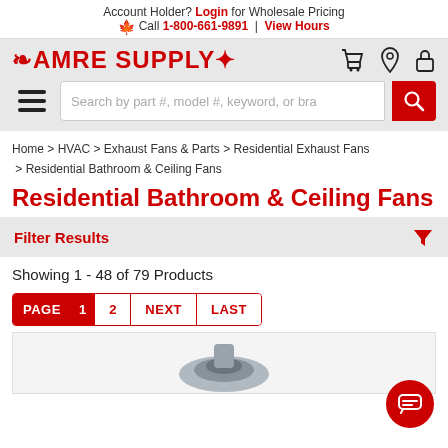Account Holder? Login for Wholesale Pricing
🍁 Call 1-800-661-9891 | View Hours
[Figure (logo): AMRE SUPPLY logo with maple leaf and gear icons]
[Figure (screenshot): Search bar with hamburger menu and red search button]
Home > HVAC > Exhaust Fans & Parts > Residential Exhaust Fans > Residential Bathroom & Ceiling Fans
Residential Bathroom & Ceiling Fans
Filter Results
Showing 1 - 48 of 79 Products
PAGE 1  2  NEXT  LAST
[Figure (photo): Partial product image of a ceiling/exhaust fan component in grey/silver]